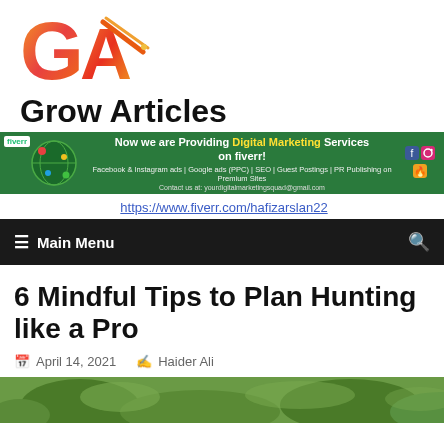[Figure (logo): Grow Articles logo with colorful GA letters]
Grow Articles
[Figure (infographic): Fiverr digital marketing services banner - green background with text: Now we are Providing Digital Marketing Services on fiverr! Facebook & Instagram ads | Google ads (PPC) | SEO | Guest Postings | PR Publishing on Premium Sites. Contact us at: yourdigitalmarketingsquad@gmail.com]
https://www.fiverr.com/hafizarslan22
≡  Main Menu
6 Mindful Tips to Plan Hunting like a Pro
April 14, 2021   Haider Ali
[Figure (photo): Partial thumbnail image - outdoor hunting scene, green foliage]